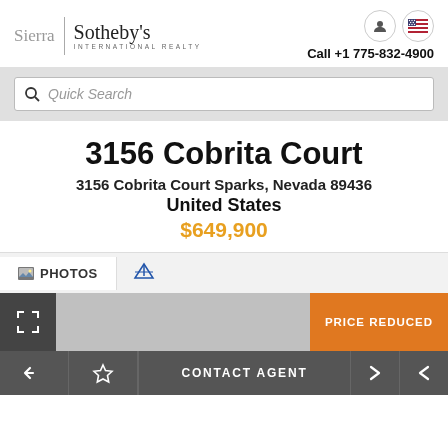[Figure (logo): Sierra Sotheby's International Realty logo with vertical divider]
Call +1 775-832-4900
Quick Search
3156 Cobrita Court
3156 Cobrita Court Sparks, Nevada 89436
United States
$649,900
PHOTOS
PRICE REDUCED
CONTACT AGENT